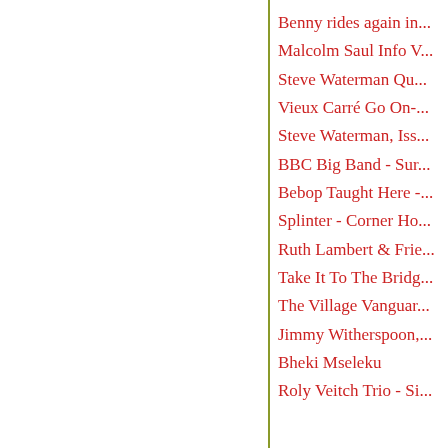Benny rides again in...
Malcolm Saul Info V...
Steve Waterman Qu...
Vieux Carré Go On-...
Steve Waterman, Iss...
BBC Big Band - Sur...
Bebop Taught Here -...
Splinter - Corner Ho...
Ruth Lambert & Frie...
Take It To The Bridg...
The Village Vanguar...
Jimmy Witherspoon,...
Bheki Mseleku
Roly Veitch Trio - Si...